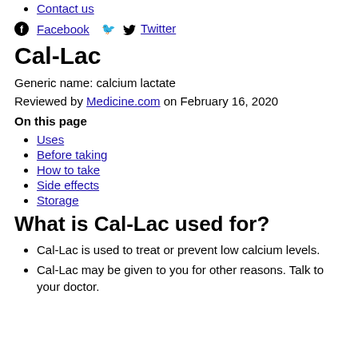Contact us
Facebook  Twitter
Cal-Lac
Generic name: calcium lactate
Reviewed by Medicine.com on February 16, 2020
On this page
Uses
Before taking
How to take
Side effects
Storage
What is Cal-Lac used for?
Cal-Lac is used to treat or prevent low calcium levels.
Cal-Lac may be given to you for other reasons. Talk to your doctor.